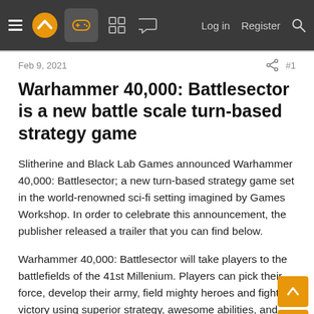Navigation bar with hamburger menu, logo, gamepad icon, grid icon, chat icon, Log in, Register, Search
Feb 9, 2021
Warhammer 40,000: Battlesector is a new battle scale turn-based strategy game
Slitherine and Black Lab Games announced Warhammer 40,000: Battlesector; a new turn-based strategy game set in the world-renowned sci-fi setting imagined by Games Workshop. In order to celebrate this announcement, the publisher released a trailer that you can find below.
Warhammer 40,000: Battlesector will take players to the battlefields of the 41st Millenium. Players can pick their force, develop their army, field mighty heroes and fight for victory using superior strategy, awesome abilities, and devastating weaponry, turn by turn on grid-based maps.
The game will feature an epic twenty mission single-player